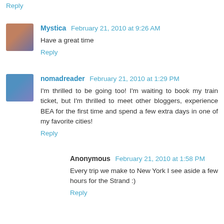Reply
Mystica  February 21, 2010 at 9:26 AM
Have a great time
Reply
nomadreader  February 21, 2010 at 1:29 PM
I'm thrilled to be going too! I'm waiting to book my train ticket, but I'm thrilled to meet other bloggers, experience BEA for the first time and spend a few extra days in one of my favorite cities!
Reply
Anonymous  February 21, 2010 at 1:58 PM
Every trip we make to New York I see aside a few hours for the Strand :)
Reply